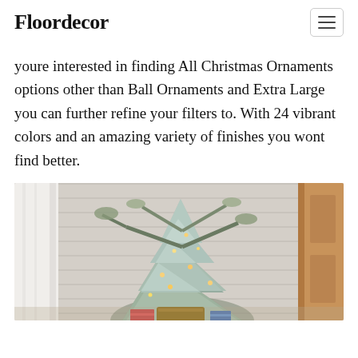Floordecor
youre interested in finding All Christmas Ornaments options other than Ball Ornaments and Extra Large you can further refine your filters to. With 24 vibrant colors and an amazing variety of finishes you wont find better.
[Figure (photo): A flocked Christmas tree with lights and pine/eucalyptus decor displayed near a white shiplap wall and a wooden door, with a white curtain visible on the left.]